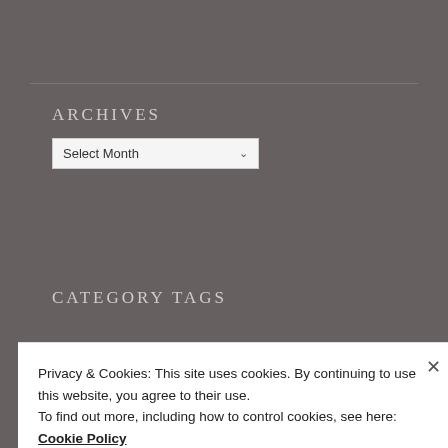ARCHIVES
[Figure (screenshot): A dropdown select box with label 'Select Month' and a dropdown arrow]
CATEGORY TAGS
art
Privacy & Cookies: This site uses cookies. By continuing to use this website, you agree to their use.
To find out more, including how to control cookies, see here: Cookie Policy
Close and accept